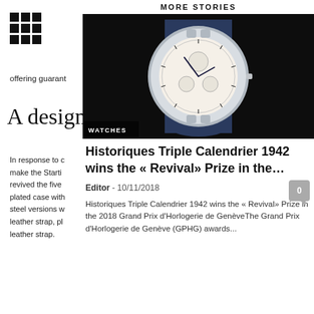[Figure (logo): 3x3 grid of black squares icon]
offering guarant
A design
In response to c make the Starti revived the five plated case with steel versions w leather strap, pl leather strap.
MORE STORIES
[Figure (photo): Photograph of a luxury wristwatch with white/cream dial and blue leather strap on a dark black background, with WATCHES badge overlay]
Historiques Triple Calendrier 1942 wins the « Revival» Prize in the…
Editor - 10/11/2018
Historiques Triple Calendrier 1942 wins the « Revival» Prize in the 2018 Grand Prix d'Horlogerie de GenèveThe Grand Prix d'Horlogerie de Genève (GPHG) awards...